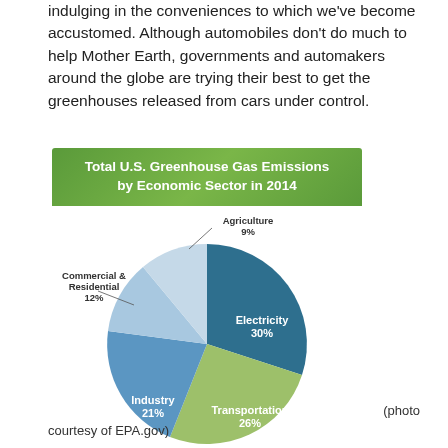indulging in the conveniences to which we've become accustomed. Although automobiles don't do much to help Mother Earth, governments and automakers around the globe are trying their best to get the greenhouses released from cars under control.
[Figure (pie-chart): Total U.S. Greenhouse Gas Emissions by Economic Sector in 2014]
(photo courtesy of EPA.gov)